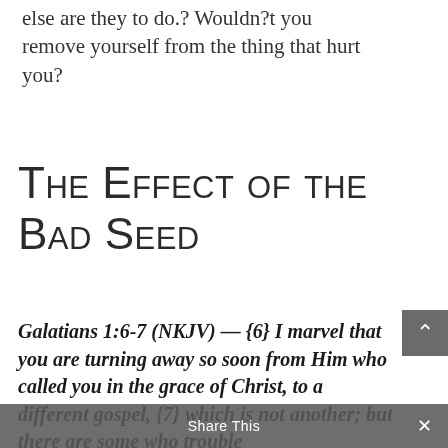else are they to do.? Wouldn?t you remove yourself from the thing that hurt you?
The Effect of the Bad Seed
Galatians 1:6-7 (NKJV) — {6} I marvel that you are turning away so soon from Him who called you in the grace of Christ, to a different gospel, {7} which is not another; but there are some who trouble
Share This